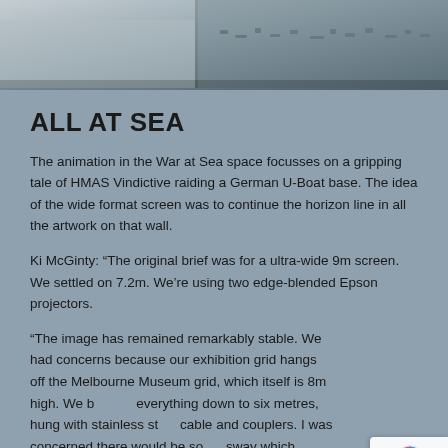[Figure (photo): Partial photograph at the top of the page, showing what appears to be museum display items or models on a surface, cropped at the bottom of the image strip.]
ALL AT SEA
The animation in the War at Sea space focusses on a gripping tale of HMAS Vindictive raiding a German U-Boat base. The idea of the wide format screen was to continue the horizon line in all the artwork on that wall.
Ki McGinty: “The original brief was for a ultra-wide 9m screen. We settled on 7.2m. We’re using two edge-blended Epson projectors.
“The image has remained remarkably stable. We had concerns because our exhibition grid hangs off the Melbourne Museum grid, which itself is 8m high. We brought everything down to six metres, hung with stainless steel cable and couplers. I was concerned there would be some sway which would obviously impact on the projections. It